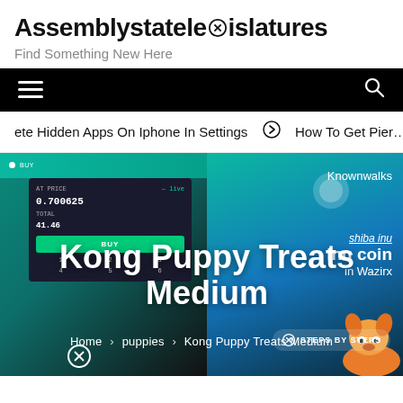Assemblystatelegislatures
Find Something New Here
[Figure (screenshot): Black navigation bar with hamburger menu icon on the left and search icon on the right]
ete Hidden Apps On Iphone In Settings  ➔  How To Get Pier…
[Figure (screenshot): Hero image composite: left side shows a dark trading/finance UI panel with teal background and buy button; right side shows a crypto advertisement with 'Knownwalks', 'shiba inu coin in Wazirx' text, and a Shiba Inu dog mascot illustration. Overlaid text reads 'Kong Puppy Treats Medium'. Breadcrumb shows Home > puppies > Kong Puppy Treats Medium. A close/cancel icon and 'STEPS BY STEPS' badge appear at the bottom.]